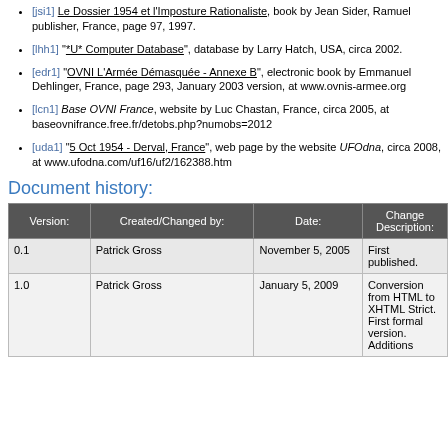[jsi1] Le Dossier 1954 et l'Imposture Rationaliste, book by Jean Sider, Ramuel publisher, France, page 97, 1997.
[lhh1] "*U* Computer Database", database by Larry Hatch, USA, circa 2002.
[edr1] "OVNI L'Armée Démasquée - Annexe B", electronic book by Emmanuel Dehlinger, France, page 293, January 2003 version, at www.ovnis-armee.org
[lcn1] Base OVNI France, website by Luc Chastan, France, circa 2005, at baseovnifrance.free.fr/detobs.php?numobs=2012
[uda1] "5 Oct 1954 - Derval, France", web page by the website UFOdna, circa 2008, at www.ufodna.com/uf16/uf2/162388.htm
Document history:
| Version: | Created/Changed by: | Date: | Change Description: |
| --- | --- | --- | --- |
| 0.1 | Patrick Gross | November 5, 2005 | First published. |
| 1.0 | Patrick Gross | January 5, 2009 | Conversion from HTML to XHTML Strict. First formal version. Additions |